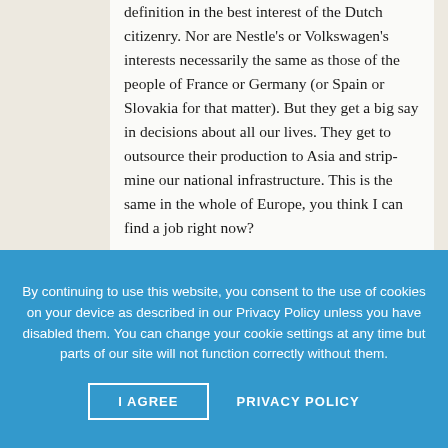definition in the best interest of the Dutch citizenry. Nor are Nestle's or Volkswagen's interests necessarily the same as those of the people of France or Germany (or Spain or Slovakia for that matter). But they get a big say in decisions about all our lives. They get to outsource their production to Asia and strip-mine our national infrastructure. This is the same in the whole of Europe, you think I can find a job right now?
But ultimately I think Europeans are best of together. Not because we are the same but because we are different! It won't be today and it won't be tomorrow but we will come to the question. And the resolution it...
By continuing to use this website, you consent to the use of cookies on your device as described in our Privacy Policy unless you have disabled them. You can change your cookie settings at any time but parts of our site will not function correctly without them.